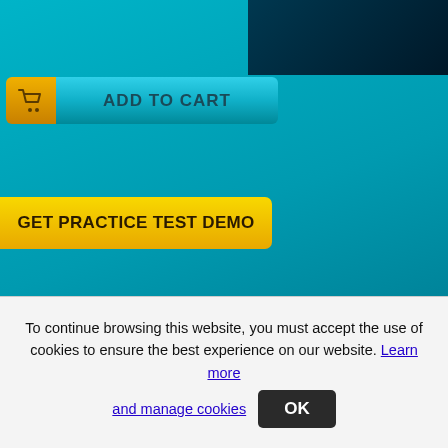[Figure (screenshot): Teal/dark blue gradient website background with top navigation area]
[Figure (screenshot): ADD TO CART button with golden shopping cart icon on teal background]
[Figure (screenshot): GET PRACTICE TEST DEMO button in yellow/gold color]
[Figure (screenshot): PDF product card showing $89 price, HAT-450 Question and Answers title, Last Updated: Aug 22, 2016, Total Questions info, with PDF icon]
Download latest Hitachi Data Systems Certified Professional - NAS installation HAT questions and answers which will help you pass your Hitachi HAT-450 exam in first by providing the best preparation material.
[Figure (screenshot): Best Promotion card showing 25% badge and $119 price with 'Best Promotion' text]
To continue browsing this website, you must accept the use of cookies to ensure the best experience on our website. Learn more and manage cookies OK